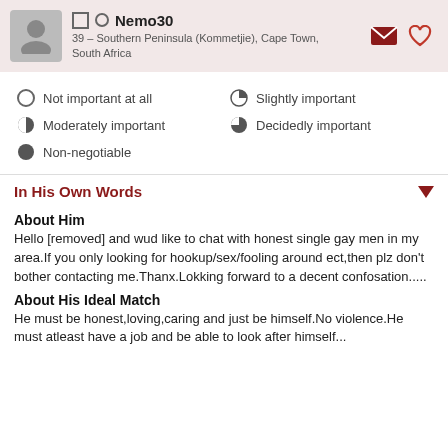Nemo30 — 39 – Southern Peninsula (Kommetjie), Cape Town, South Africa
Not important at all
Slightly important
Moderately important
Decidedly important
Non-negotiable
In His Own Words
About Him
Hello [removed] and wud like to chat with honest single gay men in my area.If you only looking for hookup/sex/fooling around ect,then plz don't bother contacting me.Thanx.Lokking forward to a decent confosation.....
About His Ideal Match
He must be honest,loving,caring and just be himself.No violence.He must atleast have a job and be able to look after himself...